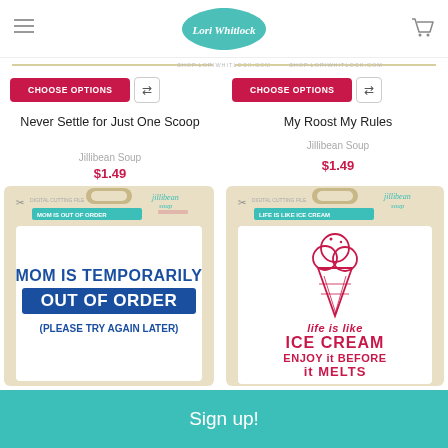Lori Whitlock
CHOOSE OPTIONS
CHOOSE OPTIONS
Never Settle for Just One Scoop
Jillibean Soup
$1.49
My Roost My Rules
Jillibean Soup
$1.49
[Figure (photo): Product card: Mom Is Temporarily Out Of Order (Please Try Again Later) - Jillibean Soup digital cutting file on beige card packaging]
[Figure (photo): Product card: Life Is Like Ice Cream Enjoy It Before It Melts - Jillibean Soup digital cutting file on beige card packaging with ice cream cone illustration]
Sign up!